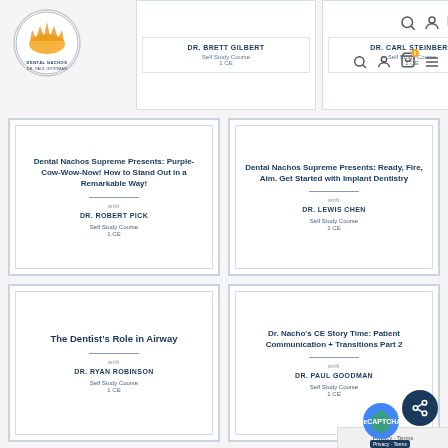[Figure (logo): Dental Nachos logo - circular badge with tooth/nacho illustration]
DR. BRETT GILBERT
Self Study Course
1 CE
DR. CARL STEINBERG
Self Study Course
1 CE
Dental Nachos Supreme Presents: Purple-Cow-Wow-Now! How to Stand Out in a Remarkable Way!
with
DR. ROBERT PICK
Self Study Course
1 CE
Dental Nachos Supreme Presents: Ready, Fire, Aim. Get Started with Implant Dentistry
with
DR. LEWIS CHEN
Self Study Course
1 CE
The Dentist's Role in Airway
with
DR. RYAN ROBINSON
Self Study Course
1 CE
Dr. Nacho's CE Story Time: Patient Communication + Transitions Part 2
with
DR. PAUL GOODMAN
Self Study Course
1 CE